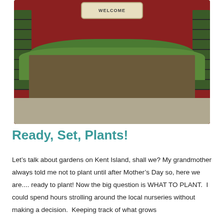[Figure (photo): Outdoor nursery display with large pyramid of potted green plants arranged on a wooden table in front of a red barn wall. A 'Welcome' sign is visible at the top. Side racks with plants flank the main display. Gravel ground in foreground.]
Ready, Set, Plants!
Let’s talk about gardens on Kent Island, shall we? My grandmother always told me not to plant until after Mother’s Day so, here we are.... ready to plant! Now the big question is WHAT TO PLANT.  I could spend hours strolling around the local nurseries without making a decision.  Keeping track of what grows